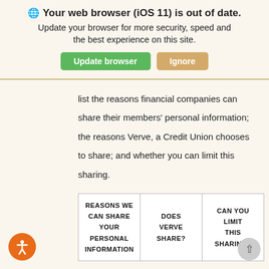[Figure (screenshot): Browser update warning banner with globe icon, bold title 'Your web browser (iOS 11) is out of date.', subtitle text, and two buttons: green 'Update browser' and tan 'Ignore']
list the reasons financial companies can share their members' personal information; the reasons Verve, a Credit Union chooses to share; and whether you can limit this sharing.
| REASONS WE CAN SHARE YOUR PERSONAL INFORMATION | DOES VERVE SHARE? | CAN YOU LIMIT THIS SHARING? |
| --- | --- | --- |